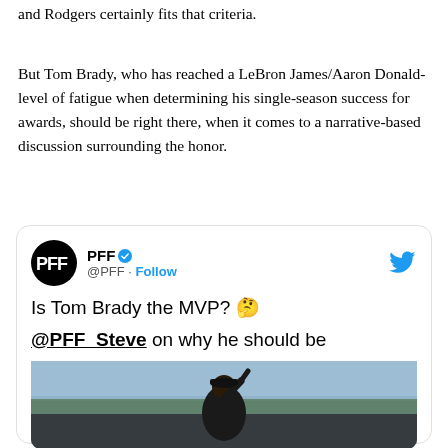and Rodgers certainly fits that criteria.
But Tom Brady, who has reached a LeBron James/Aaron Donald-level of fatigue when determining his single-season success for awards, should be right there, when it comes to a narrative-based discussion surrounding the honor.
[Figure (screenshot): Embedded tweet from @PFF with text 'Is Tom Brady the MVP? 🤔 @PFF_Steve on why he should be' and a photo of a football player celebrating in a stadium.]